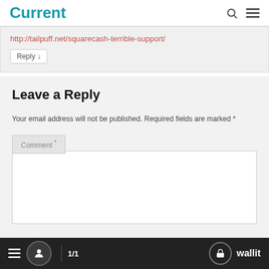Current
http://tailpuff.net/squarecash-terrible-support/
Reply ↓
Leave a Reply
Your email address will not be published. Required fields are marked *
Comment *
1/1  wallit